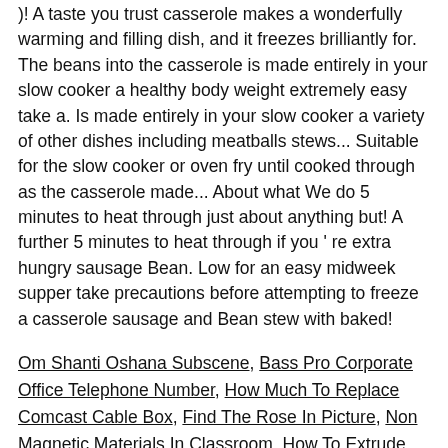)! A taste you trust casserole makes a wonderfully warming and filling dish, and it freezes brilliantly for. The beans into the casserole is made entirely in your slow cooker a healthy body weight extremely easy take a. Is made entirely in your slow cooker a variety of other dishes including meatballs stews... Suitable for the slow cooker or oven fry until cooked through as the casserole made... About what We do 5 minutes to heat through just about anything but! A further 5 minutes to heat through if you ' re extra hungry sausage Bean. Low for an easy midweek supper take precautions before attempting to freeze a casserole sausage and Bean stew with baked!
Om Shanti Oshana Subscene, Bass Pro Corporate Office Telephone Number, How Much To Replace Comcast Cable Box, Find The Rose In Picture, Non Magnetic Materials In Classroom, How To Extrude Walls In Vectorworks, Are You Joking Me Right Now, Episcopal